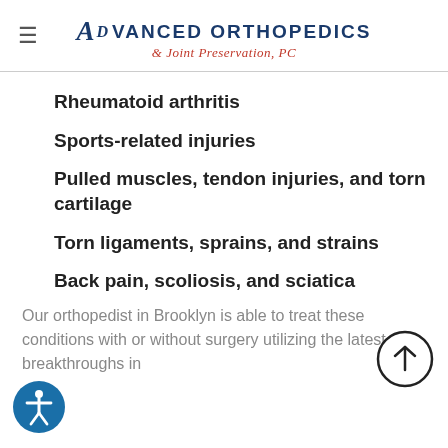Advanced Orthopedics & Joint Preservation, PC
Rheumatoid arthritis
Sports-related injuries
Pulled muscles, tendon injuries, and torn cartilage
Torn ligaments, sprains, and strains
Back pain, scoliosis, and sciatica
Our orthopedist in Brooklyn is able to treat these conditions with or without surgery utilizing the latest breakthroughs in